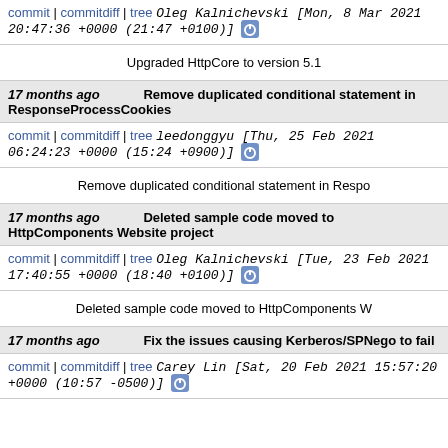commit | commitdiff | tree   Oleg Kalnichevski [Mon, 8 Mar 2021 20:47:36 +0000 (21:47 +0100)]
Upgraded HttpCore to version 5.1
17 months ago   Remove duplicated conditional statement in ResponseProcessCookies
commit | commitdiff | tree   leedonggyu [Thu, 25 Feb 2021 06:24:23 +0000 (15:24 +0900)]
Remove duplicated conditional statement in Respo
17 months ago   Deleted sample code moved to HttpComponents Website project
commit | commitdiff | tree   Oleg Kalnichevski [Tue, 23 Feb 2021 17:40:55 +0000 (18:40 +0100)]
Deleted sample code moved to HttpComponents W
17 months ago   Fix the issues causing Kerberos/SPNego to fail
commit | commitdiff | tree   Carey Lin [Sat, 20 Feb 2021 15:57:20 +0000 (10:57 -0500)]